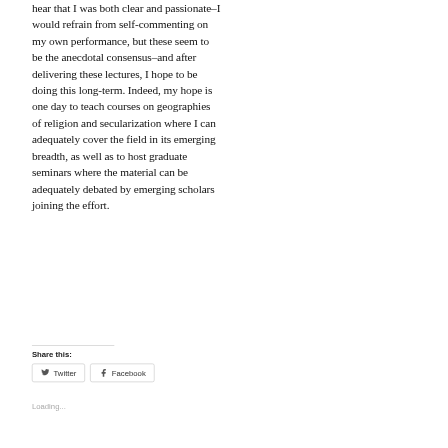hear that I was both clear and passionate–I would refrain from self-commenting on my own performance, but these seem to be the anecdotal consensus–and after delivering these lectures, I hope to be doing this long-term.  Indeed, my hope is one day to teach courses on geographies of religion and secularization where I can adequately cover the field in its emerging breadth, as well as to host graduate seminars where the material can be adequately debated by emerging scholars joining the effort.
Share this:
Twitter
Facebook
Loading...